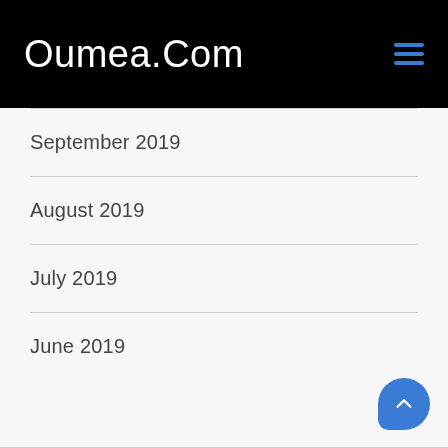Oumea.Com
September 2019
August 2019
July 2019
June 2019